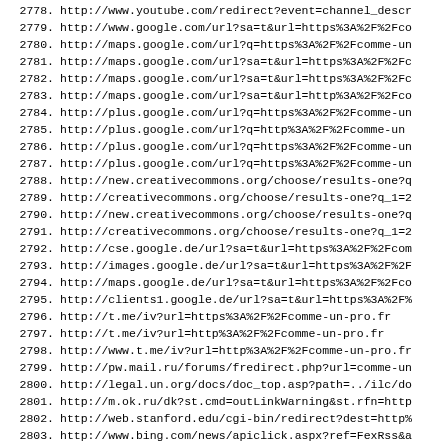2778. http://www.youtube.com/redirect?event=channel_descr
2779. http://www.google.com/url?sa=t&url=https%3A%2F%2Fco
2780. http://maps.google.com/url?q=https%3A%2F%2Fcomme-un
2781. http://maps.google.com/url?sa=t&url=https%3A%2F%2Fc
2782. http://maps.google.com/url?sa=t&url=https%3A%2F%2Fc
2783. http://maps.google.com/url?sa=t&url=http%3A%2F%2Fco
2784. http://plus.google.com/url?q=https%3A%2F%2Fcomme-un
2785. http://plus.google.com/url?q=http%3A%2F%2Fcomme-un
2786. http://plus.google.com/url?q=https%3A%2F%2Fcomme-un
2787. http://plus.google.com/url?q=https%3A%2F%2Fcomme-un
2788. http://new.creativecommons.org/choose/results-one?q
2789. http://creativecommons.org/choose/results-one?q_1=2
2790. http://new.creativecommons.org/choose/results-one?q
2791. http://creativecommons.org/choose/results-one?q_1=2
2792. http://cse.google.de/url?sa=t&url=https%3A%2F%2Fcom
2793. http://images.google.de/url?sa=t&url=https%3A%2F%2F
2794. http://maps.google.de/url?sa=t&url=https%3A%2F%2Fco
2795. http://clients1.google.de/url?sa=t&url=https%3A%2F%
2796. http://t.me/iv?url=https%3A%2F%2Fcomme-un-pro.fr
2797. http://t.me/iv?url=http%3A%2F%2Fcomme-un-pro.fr
2798. http://www.t.me/iv?url=http%3A%2F%2Fcomme-un-pro.fr
2799. http://pw.mail.ru/forums/fredirect.php?url=comme-un
2800. http://legal.un.org/docs/doc_top.asp?path=../ilc/do
2801. http://m.ok.ru/dk?st.cmd=outLinkWarning&st.rfn=http
2802. http://web.stanford.edu/cgi-bin/redirect?dest=http%
2803. http://www.bing.com/news/apiclick.aspx?ref=FexRss&a
2804. http://wasearch.loc.gov/e2k/*/comme-un-pro.fr
2805. http://cr.naver.com/redirect-notification?u=https%3
2806. http://bares.blog.idnes.cz/redir.aspx?url=https%3A%